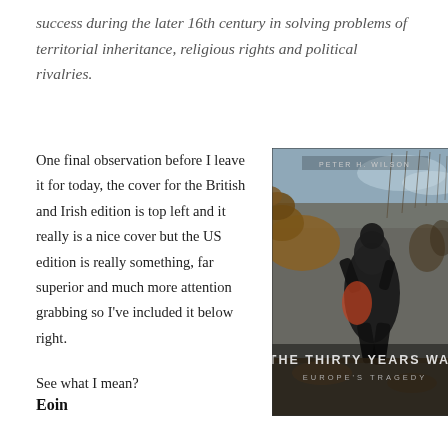success during the later 16th century in solving problems of territorial inheritance, religious rights and political rivalries.
One final observation before I leave it for today, the cover for the British and Irish edition is top left and it really is a nice cover but the US edition is really something, far superior and much more attention grabbing so I've included it below right.
[Figure (photo): Book cover of 'The Thirty Years War: Europe's Tragedy' by Peter H. Wilson. Shows a dramatic battle painting with armored soldiers fighting, predominantly dark tones with a figure in black armor prominently featured. Title text overlaid at bottom.]
See what I mean?
Eoin